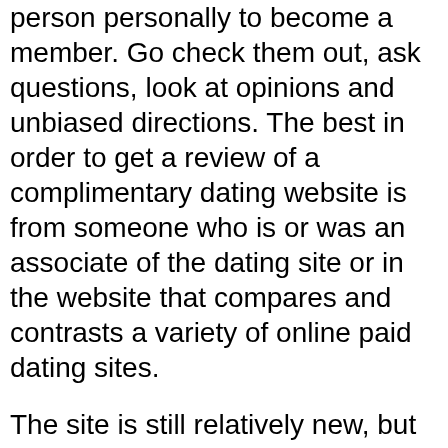person personally to become a member. Go check them out, ask questions, look at opinions and unbiased directions. The best in order to get a review of a complimentary dating website is from someone who is or was an associate of the dating site or in the website that compares and contrasts a variety of online paid dating sites.
The site is still relatively new, but I've many userful stuff here already. First, meeting on the web is a lot like finding a partner offline. It takes time and patience. Cautious pro-active. What I've noticed our demographic is that there is a lot of passivity. People sign on, and that's that. They wait. They wait for somebody to contact them. This can be a big mistake and the main reason why make use of them complain the player can't meet anyone on the net. Like life, if you intend to make something happen,